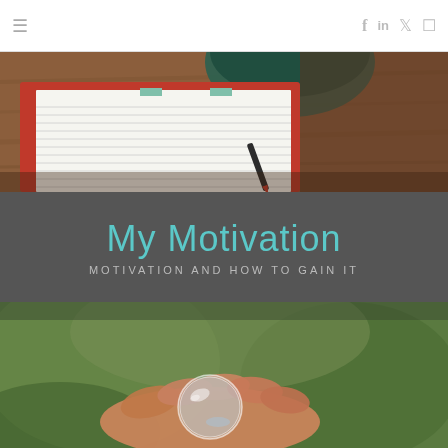≡  f  in  🐦  📷
[Figure (photo): Overhead view of an open lined notebook with red cover, green bookmarks, and a dark bowl/cup, on a wooden surface]
My Motivation
MOTIVATION AND HOW TO GAIN IT
[Figure (photo): Close-up of hands holding a small glass globe/ball with a blurred green background]